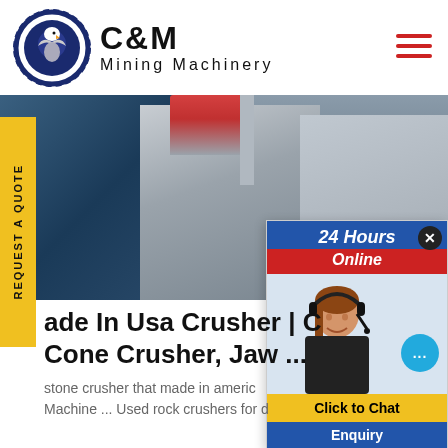[Figure (logo): C&M Mining Machinery logo with eagle head in gear circle and bold text brand name]
[Figure (photo): Industrial mining machinery and crushers at a facility, with large silos and processing equipment]
[Figure (photo): 24 Hours Online chat popup with customer service agent wearing headset, cyan chat bubble, Click to Chat button, and Enquiry section]
ade In Usa Crusher | C Cone Crusher, Jaw ...
stone crusher that made in americ Machine ... Used rock crushers for d